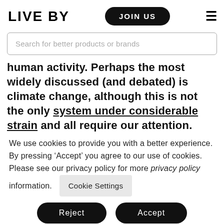LIVE BY
Search for better products or brands
human activity. Perhaps the most widely discussed (and debated) is climate change, although this is not the only system under considerable strain and all require our attention.
We use cookies to provide you with a better experience. By pressing ‘Accept’ you agree to our use of cookies. Please see our privacy policy for more privacy policy information.
Cookie Settings
Reject
Accept